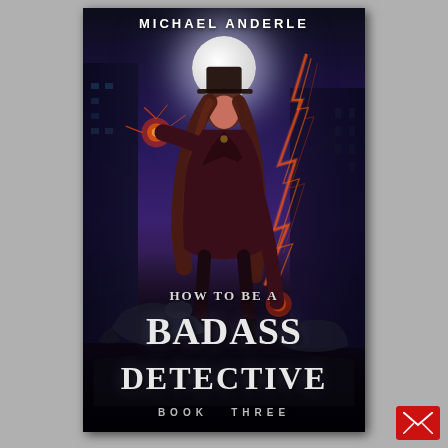[Figure (illustration): Book cover for 'How to Be a Badass Detective Book Three' by Michael Anderle. Features a woman in a dark coat and hat standing on a city street at night, with a full moon behind her. She holds glowing red/orange magical energy in both hands, with lightning crackling on the right. A large creature (dragon or serpent) is visible at her feet. The title text appears in large white serif letters at the bottom.]